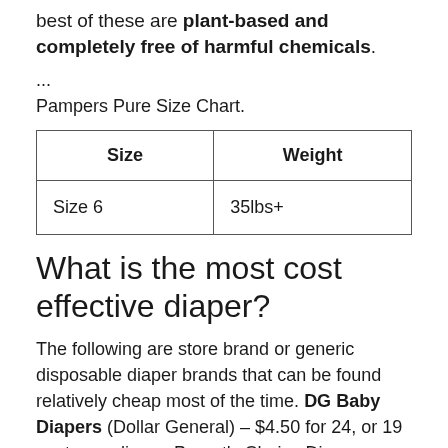best of these are plant-based and completely free of harmful chemicals.
...
Pampers Pure Size Chart.
| Size | Weight |
| --- | --- |
| Size 6 | 35lbs+ |
What is the most cost effective diaper?
The following are store brand or generic disposable diaper brands that can be found relatively cheap most of the time. DG Baby Diapers (Dollar General) – $4.50 for 24, or 19 cents per diaper. Parent's Choice Diapers